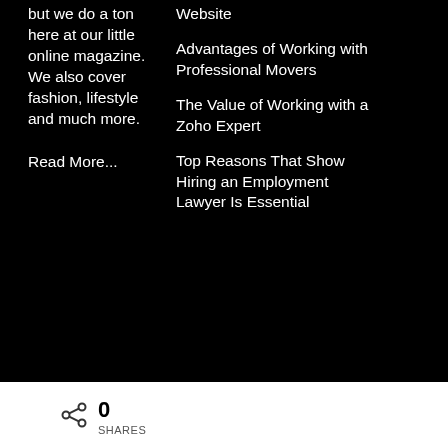but we do a ton here at our little online magazine. We also cover fashion, lifestyle and much more.
Read More...
Website
Advantages of Working with Professional Movers
The Value of Working with a Zoho Expert
Top Reasons That Show Hiring an Employment Lawyer Is Essential
0 SHARES